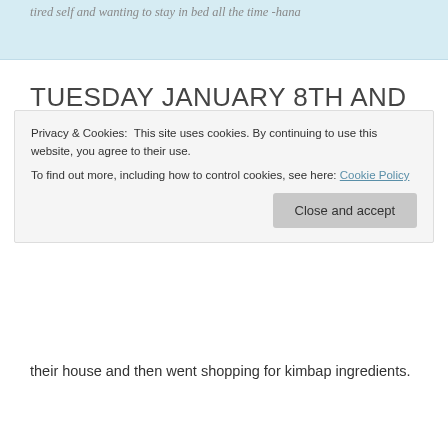tired self and wanting to stay in bed all the time -hana
TUESDAY JANUARY 8TH AND WEDNESDAY JANUARY 9TH – PACKING
January 8, 2013   Leave a comment
Today I spent the day relaxing and packing. Re-arranging
Privacy & Cookies: This site uses cookies. By continuing to use this website, you agree to their use. To find out more, including how to control cookies, see here: Cookie Policy
their house and then went shopping for kimbap ingredients.